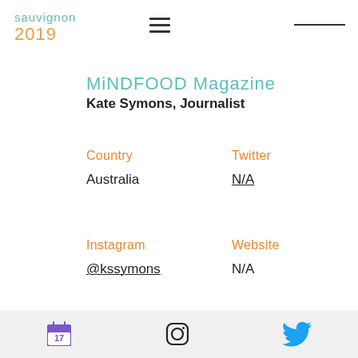sauvignon 2019
MiNDFOOD Magazine
Kate Symons, Journalist
Country
Australia
Twitter
N/A
Instagram
@kssymons
Website
N/A
[Figure (other): Back to top button with upward arrow]
Calendar icon, Instagram icon, Twitter icon